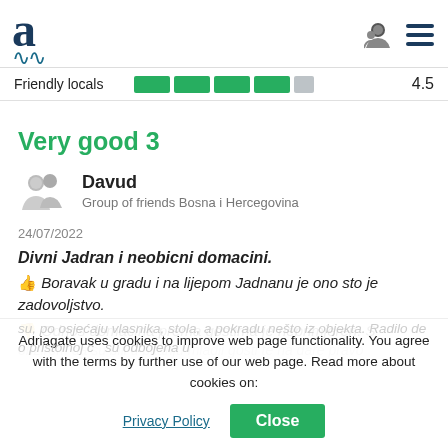[Figure (logo): Adriagate logo: large stylized letter 'a' in dark navy blue with a wavy underline, and navigation icons (person and hamburger menu) on the right]
Friendly locals 4.5
Very good 3
Davud
Group of friends Bosna i Hercegovina
24/07/2022
Divni Jadran i neobicni domacini.
👍 Boravak u gradu i na lijepom Jadnanu je ono sto je zadovoljstvo.
👎 Odnos domacina prema gostima je neprimjeren. S obzirom da su bili u pitanju mladji gosti te na dare pravo vlasnika, to la, su po osjećaju vlasnika, stola, a pokradu nešto iz objekta. Radilo de o pristoinoj c su odbojena u
Adriagate uses cookies to improve web page functionality. You agree with the terms by further use of our web page. Read more about cookies on:
Privacy Policy
Close